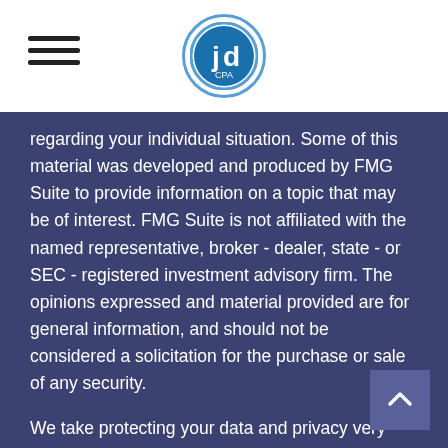JD CPA logo and hamburger menu
regarding your individual situation. Some of this material was developed and produced by FMG Suite to provide information on a topic that may be of interest. FMG Suite is not affiliated with the named representative, broker - dealer, state - or SEC - registered investment advisory firm. The opinions expressed and material provided are for general information, and should not be considered a solicitation for the purchase or sale of any security.
We take protecting your data and privacy very seriously. As of January 1, 2020 the California Consumer Privacy Act (CCPA) suggests the following link as an extra measure to safeguard your data: Do not sell my personal information.
Copyright 2022 FMG Suite.